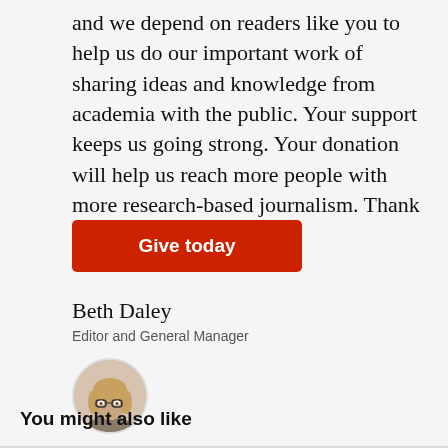and we depend on readers like you to help us do our important work of sharing ideas and knowledge from academia with the public. Your support keeps us going strong. Your donation will help us reach more people with more research-based journalism. Thank you.
[Figure (other): Red 'Give today' donation button]
Beth Daley
Editor and General Manager
[Figure (photo): Circular headshot photo of Beth Daley, a woman with glasses and blonde hair]
You might also like